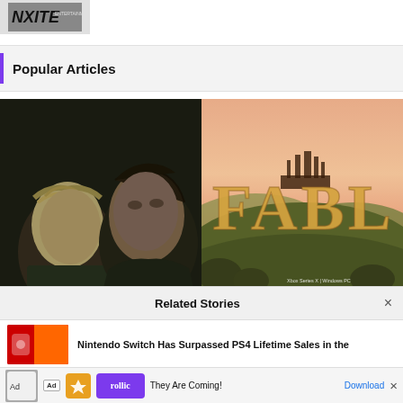[Figure (logo): Game/entertainment website logo at top left]
Popular Articles
[Figure (photo): Silent Hill 2 screenshot showing two characters facing each other in dark scene]
[Figure (photo): Fable game promotional image showing golden FABLE text over fantasy landscape with castle at sunset, Xbox Series X | Windows PC watermark]
Related Stories
Nintendo Switch Has Surpassed PS4 Lifetime Sales in the
Ad   They Are Coming!   Download